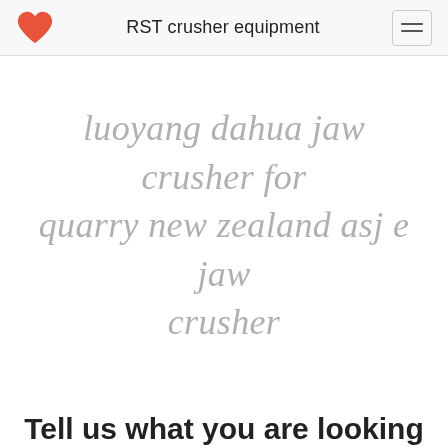RST crusher equipment
luoyang dahua jaw crusher for quarry new zealand asj e jaw crusher
Tell us what you are looking for?
Please complete and submit the following form and our sales team will contact you shortly with our best prices.